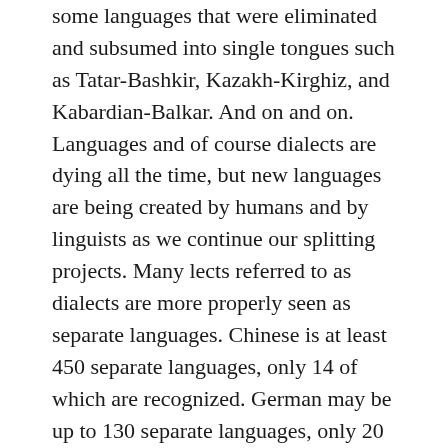some languages that were eliminated and subsumed into single tongues such as Tatar-Bashkir, Kazakh-Kirghiz, and Kabardian-Balkar. And on and on. Languages and of course dialects are dying all the time, but new languages are being created by humans and by linguists as we continue our splitting projects. Many lects referred to as dialects are more properly seen as separate languages. Chinese is at least 450 separate languages, only 14 of which are recognized. German may be up to 130 separate languages, only 20 of which are recognized. There are quite a few more languages to be created out there, but there is a lot of resistance to splitters like me from more conservative linguists, and especially from